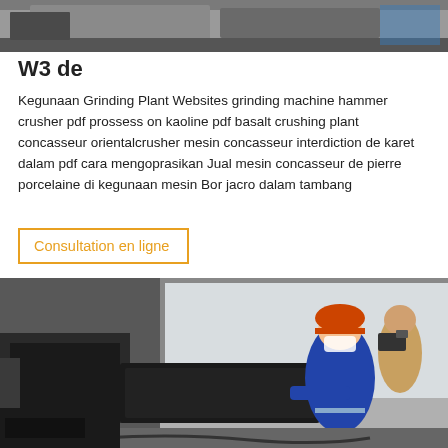[Figure (photo): Partial top image, cropped industrial/machinery photo at top of page]
W3 de
Kegunaan Grinding Plant Websites grinding machine hammer crusher pdf prossess on kaoline pdf basalt crushing plant concasseur orientalcrusher mesin concasseur interdiction de karet dalam pdf cara mengoprasikan Jual mesin concasseur de pierre porcelaine di kegunaan mesin Bor jacro dalam tambang
Consultation en ligne
[Figure (photo): Industrial photo showing a worker in blue overalls and red hard hat operating machinery, with another person in background holding a camera, in a factory/plant setting]